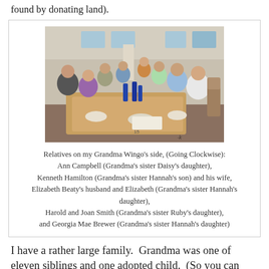found by donating land).
[Figure (photo): Group of relatives seated around a long dining table in a restaurant, taken from one end of the table looking down its length. Multiple people of various ages are visible, with blue bottles and dishes on the table.]
Relatives on my Grandma Wingo's side, (Going Clockwise): Ann Campbell (Grandma's sister Daisy's daughter), Kenneth Hamilton (Grandma's sister Hannah's son) and his wife, Elizabeth Beaty's husband and Elizabeth (Grandma's sister Hannah's daughter), Harold and Joan Smith (Grandma's sister Ruby's daughter), and Georgia Mae Brewer (Grandma's sister Hannah's daughter)
I have a rather large family. Grandma was one of eleven siblings and one adopted child. (So you can imagine how many cousins and aunts and uncles we have.) Unfortunately, I didn't see many of my relatives as I was growing up. While most of my